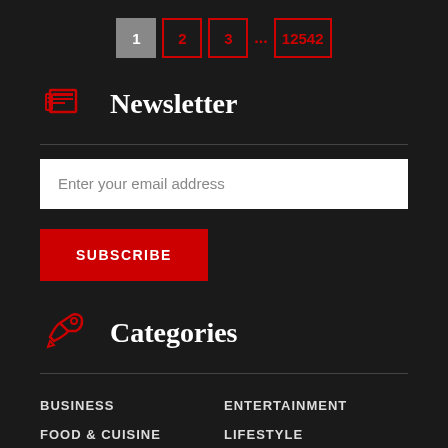1 2 3 ... 12542
Newsletter
Enter your email address
SUBSCRIBE
Categories
BUSINESS
ENTERTAINMENT
FOOD & CUISINE
LIFESTYLE